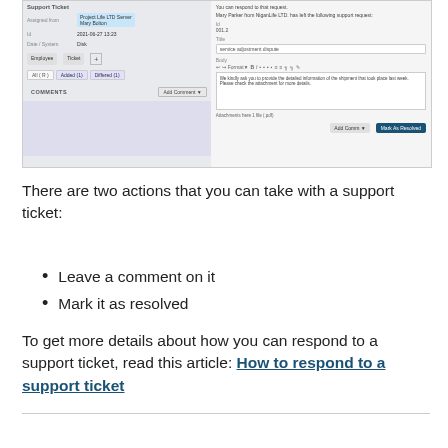[Figure (screenshot): Screenshot of a support ticket interface showing ticket details on the left (assigned to, date, status fields) and an email compose window on the right with fields for Id, Title, Body with text editor toolbar, body text about shipment information, attachments, and buttons including 'Mark As Resolved'.]
There are two actions that you can take with a support ticket:
Leave a comment on it
Mark it as resolved
To get more details about how you can respond to a support ticket, read this article: How to respond to a support ticket